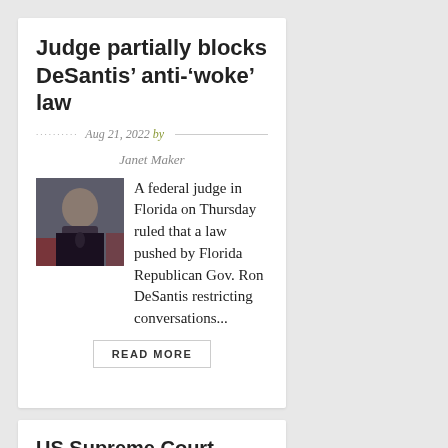Judge partially blocks DeSantis’ anti-‘woke’ law
Aug 21, 2022 by Janet Maker
[Figure (photo): Photo of a man at a microphone, appearing to be a politician or official, dark background.]
A federal judge in Florida on Thursday ruled that a law pushed by Florida Republican Gov. Ron DeSantis restricting conversations...
READ MORE
US Supreme Court temporarily blocks